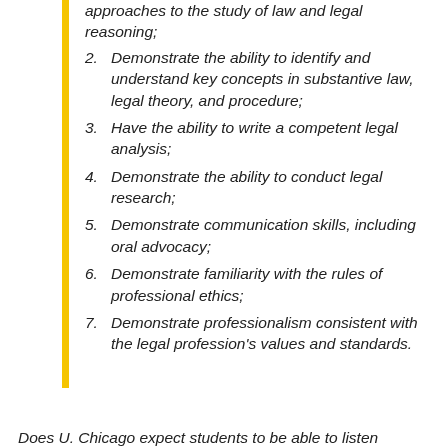approaches to the study of law and legal reasoning;
2. Demonstrate the ability to identify and understand key concepts in substantive law, legal theory, and procedure;
3. Have the ability to write a competent legal analysis;
4. Demonstrate the ability to conduct legal research;
5. Demonstrate communication skills, including oral advocacy;
6. Demonstrate familiarity with the rules of professional ethics;
7. Demonstrate professionalism consistent with the legal profession's values and standards.
Does U. Chicago expect students to be able to listen